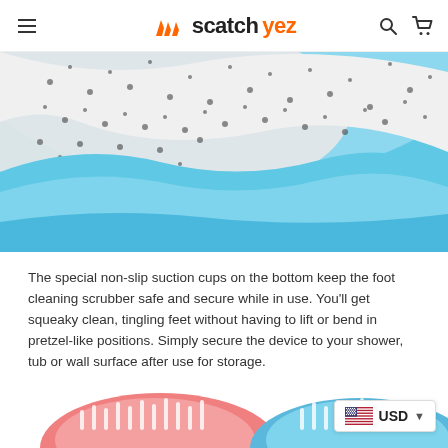scatchyez
[Figure (photo): Close-up photo of a blue foot scrubber with white foam/suction cups visible on the surface, showing the textured cleaning bristles against a bright blue silicone base.]
The special non-slip suction cups on the bottom keep the foot cleaning scrubber safe and secure while in use. You'll get squeaky clean, tingling feet without having to lift or bend in pretzel-like positions. Simply secure the device to your shower, tub or wall surface after use for storage.
[Figure (photo): Bottom portion of product photo showing two foot scrubbers side by side — a pink/coral one on the left and a blue one on the right — with white bristles visible. A currency selector badge showing USD with US flag is overlaid in the bottom right corner.]